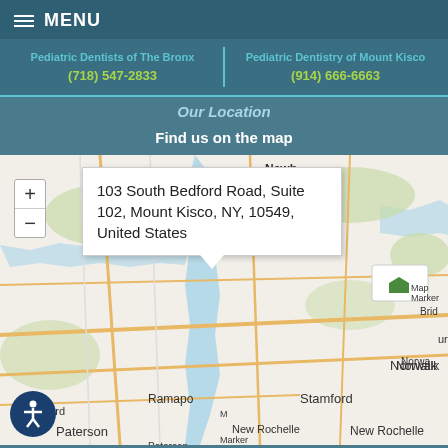MENU
Pediatric Dentists of The Bronx | (718) 547-2833 | Pediatric Dentistry of Mount Kisco | (914) 666-6663
Our Location
Find us on the map
[Figure (map): Interactive map showing the Tri-state area including Newburgh, Ramapo, Milford, Paterson, New Rochelle, Norwalk, Stamford, Bridgeport areas with a map marker and popup showing: 103 South Bedford Road, Suite 102, Mount Kisco, NY, 10549, United States]
103 South Bedford Road, Suite 102, Mount Kisco, NY, 10549, United States